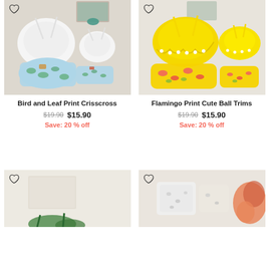[Figure (photo): White bird and leaf print crisscross bikini set for mom and child on light wood background]
Bird and Leaf Print Crisscross
$19.90  $15.90
Save: 20 % off
[Figure (photo): Yellow flamingo print cute ball trims bikini set for mom and child on white background]
Flamingo Print Cute Ball Trims
$19.90  $15.90
Save: 20 % off
[Figure (photo): Partially visible swimwear product on light background, bottom crop]
[Figure (photo): Partially visible white and animal print swimwear with orange/coral item on right, bottom crop]